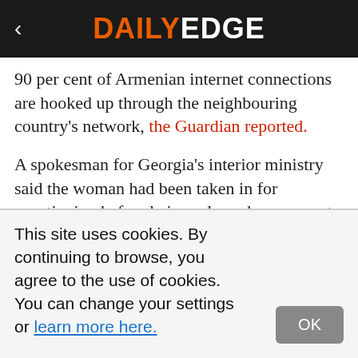DAILY EDGE
90 per cent of Armenian internet connections are hooked up through the neighbouring country's network, the Guardian reported.
A spokesman for Georgia's interior ministry said the woman had been taken in for questioning before being released on account of her age, but that the matter had not yet been closed.
Because the cable is the property of the national
This site uses cookies. By continuing to browse, you agree to the use of cookies. You can change your settings or learn more here.